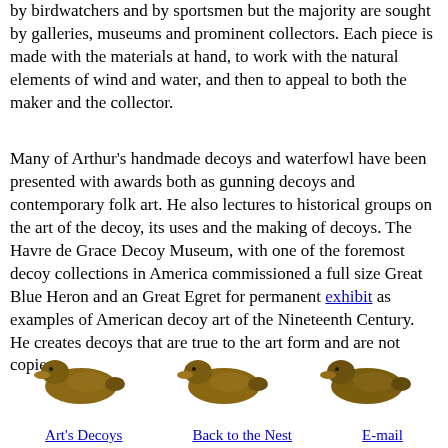by birdwatchers and by sportsmen but the majority are sought by galleries, museums and prominent collectors. Each piece is made with the materials at hand, to work with the natural elements of wind and water, and then to appeal to both the maker and the collector.
Many of Arthur's handmade decoys and waterfowl have been presented with awards both as gunning decoys and contemporary folk art. He also lectures to historical groups on the art of the decoy, its uses and the making of decoys. The Havre de Grace Decoy Museum, with one of the foremost decoy collections in America commissioned a full size Great Blue Heron and an Great Egret for permanent exhibit as examples of American decoy art of the Nineteenth Century. He creates decoys that are true to the art form and are not copies.
[Figure (illustration): Three duck decoy images used as navigation icons]
Art's Decoys   Back to the Nest   E-mail